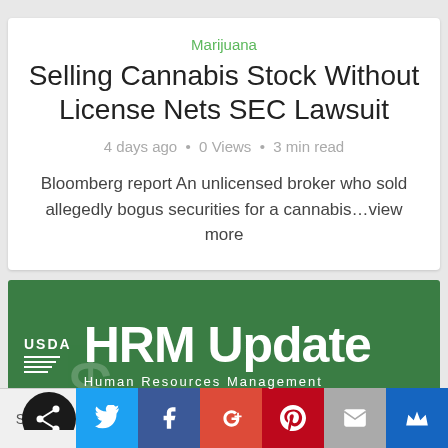Marijuana
Selling Cannabis Stock Without License Nets SEC Lawsuit
4 days ago · 0 Views · 3 min read
Bloomberg report An unlicensed broker who sold allegedly bogus securities for a cannabis…view more
[Figure (illustration): USDA HRM Update - Human Resources Management green banner with USDA logo]
[Figure (infographic): Social sharing bar with Shares label and buttons for Twitter, Facebook, Google+, Pinterest, Email, and a crown icon]